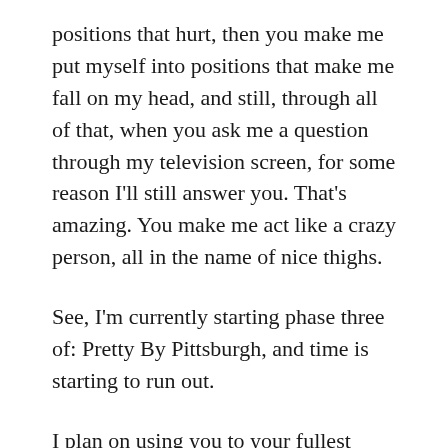positions that hurt, then you make me put myself into positions that make me fall on my head, and still, through all of that, when you ask me a question through my television screen, for some reason I'll still answer you. That's amazing. You make me act like a crazy person, all in the name of nice thighs.
See, I'm currently starting phase three of: Pretty By Pittsburgh, and time is starting to run out.
I plan on using you to your fullest abilities. That and I'll probably see the yoga freaks every once in a while. They tend to mellow me out, and my ass really hurts after one day with you. They make my arms hurt, not so much my ass. And they concentrate on strange muscles in my spine that I